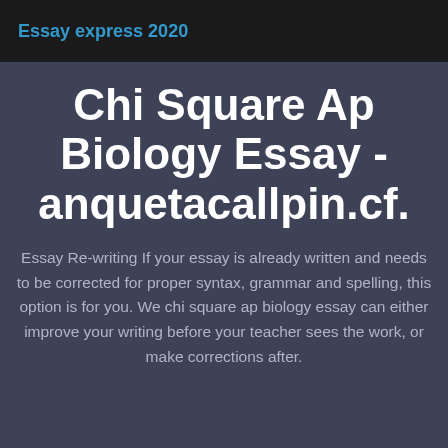Essay express 2020
Chi Square Ap Biology Essay - anquetacallpin.cf.
Essay Re-writing If your essay is already written and needs to be corrected for proper syntax, grammar and spelling, this option is for you. We chi square ap biology essay can either improve your writing before your teacher sees the work, or make corrections after.